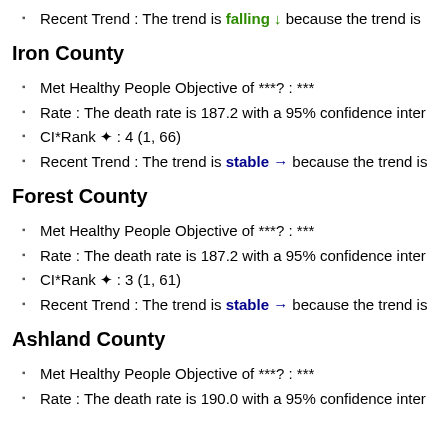Recent Trend : The trend is falling ↓ because the trend is
Iron County
Met Healthy People Objective of ***? : ***
Rate : The death rate is 187.2 with a 95% confidence inter
CI*Rank⋄ : 4 (1, 66)
Recent Trend : The trend is stable → because the trend is
Forest County
Met Healthy People Objective of ***? : ***
Rate : The death rate is 187.2 with a 95% confidence inter
CI*Rank⋄ : 3 (1, 61)
Recent Trend : The trend is stable → because the trend is
Ashland County
Met Healthy People Objective of ***? : ***
Rate : The death rate is 190.0 with a 95% confidence inter